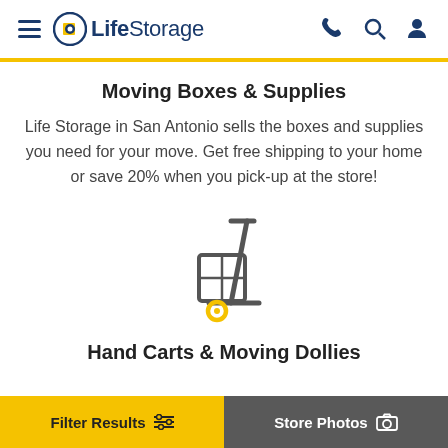LifeStorage
Moving Boxes & Supplies
Life Storage in San Antonio sells the boxes and supplies you need for your move. Get free shipping to your home or save 20% when you pick-up at the store!
[Figure (illustration): Hand truck / dolly icon with a box on it, depicted in dark grey outline style with a yellow wheel]
Hand Carts & Moving Dollies
Filter Results | Store Photos